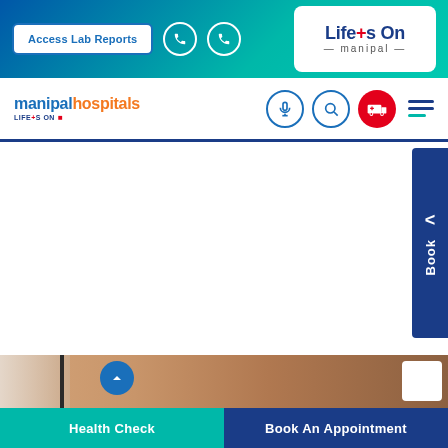[Figure (screenshot): Manipal Hospitals website screenshot showing top navigation banner with Access Lab Reports button, phone icons, and Life's On Manipal logo; main navigation bar with manipalhospitals logo and icons; white content area; Book tab on right; medical image at bottom; Health Check and Book An Appointment buttons at bottom]
Access Lab Reports
Life's On manipal
manipalhospitals LIFE'S ON
Book
Health Check
Book An Appointment